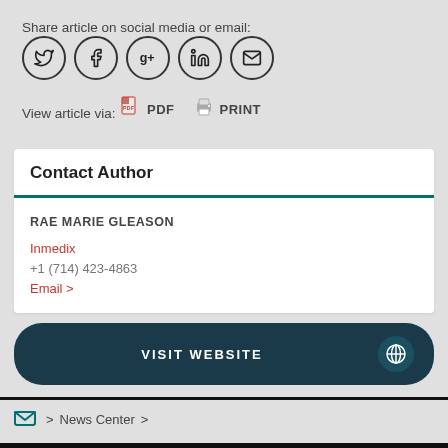Share article on social media or email:
[Figure (infographic): Five circular social media/share icons: Twitter, Facebook, Google+, LinkedIn, Email]
View article via:
PDF   PRINT
Contact Author
RAE MARIE GLEASON
Inmedix
+1 (714) 423-4863
Email >
VISIT WEBSITE
> News Center >